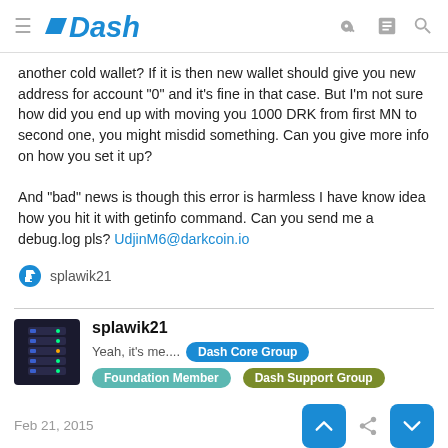Dash
another cold wallet? If it is then new wallet should give you new address for account "0" and it's fine in that case. But I'm not sure how did you end up with moving you 1000 DRK from first MN to second one, you might misdid something. Can you give more info on how you set it up?

And "bad" news is though this error is harmless I have know idea how you hit it with getinfo command. Can you send me a debug.log pls? UdjinM6@darkcoin.io
splawik21
splawik21
Yeah, it's me.... Dash Core Group   Foundation Member   Dash Support Group
Feb 21, 2015